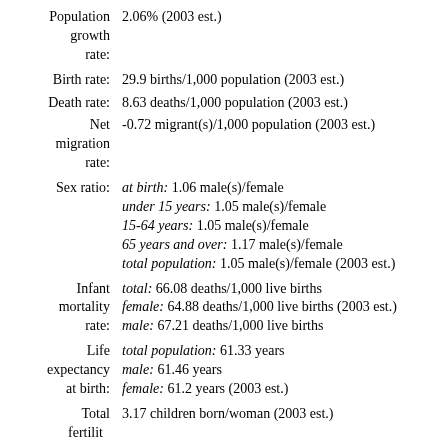Population growth rate: 2.06% (2003 est.)
Birth rate: 29.9 births/1,000 population (2003 est.)
Death rate: 8.63 deaths/1,000 population (2003 est.)
Net migration rate: -0.72 migrant(s)/1,000 population (2003 est.)
Sex ratio: at birth: 1.06 male(s)/female; under 15 years: 1.05 male(s)/female; 15-64 years: 1.05 male(s)/female; 65 years and over: 1.17 male(s)/female; total population: 1.05 male(s)/female (2003 est.)
Infant mortality rate: total: 66.08 deaths/1,000 live births; female: 64.88 deaths/1,000 live births (2003 est.); male: 67.21 deaths/1,000 live births
Life expectancy at birth: total population: 61.33 years; male: 61.46 years; female: 61.2 years (2003 est.)
Total fertility: 3.17 children born/woman (2003 est.)